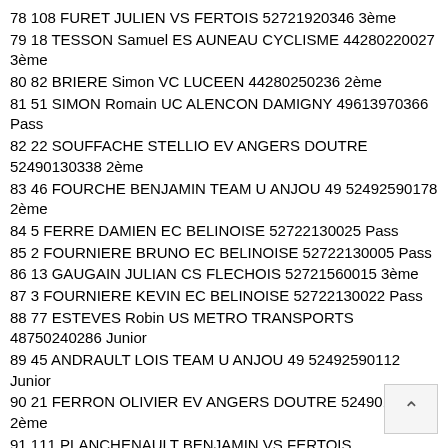78 108 FURET JULIEN VS FERTOIS 52721920346 3ème
79 18 TESSON Samuel ES AUNEAU CYCLISME 44280220027 3ème
80 82 BRIERE Simon VC LUCEEN 44280250236 2ème
81 51 SIMON Romain UC ALENCON DAMIGNY 49613970366 Pass
82 22 SOUFFACHE STELLIO EV ANGERS DOUTRE 52490130338 2ème
83 46 FOURCHE BENJAMIN TEAM U ANJOU 49 52492590178 2ème
84 5 FERRE DAMIEN EC BELINOISE 52722130025 Pass
85 2 FOURNIERE BRUNO EC BELINOISE 52722130005 Pass
86 13 GAUGAIN JULIAN CS FLECHOIS 52721560015 3ème
87 3 FOURNIERE KEVIN EC BELINOISE 52722130022 Pass
88 77 ESTEVES Robin US METRO TRANSPORTS 48750240286 Junior
89 45 ANDRAULT LOIS TEAM U ANJOU 49 52492590112 Junior
90 21 FERRON OLIVIER EV ANGERS DOUTRE 52490130285 2ème
91 111 PLANCHENAULT BENJAMIN VS FERTOIS 52721920339 3ème
92 103 NEDELLEC ROMUALD VELO CLUB VERROIS